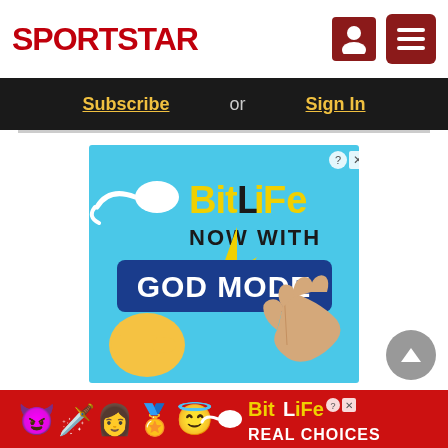SPORTSTAR
Subscribe or Sign In
[Figure (infographic): BitLife GOD MODE advertisement - light blue background with sperm emoji graphic, lightning bolt, 'BitLife' in yellow and black text, 'NOW WITH' in black, 'GOD MODE' in white on blue banner, pointing hand emoji and a stylized hand illustration]
ello and welcome to Sportstar's live coverage of
[Figure (infographic): BitLife REAL CHOICES bottom banner advertisement with devil emoji, woman emoji, angel emoji, sperm emoji on red background with BitLife logo and 'REAL CHOICES' text]